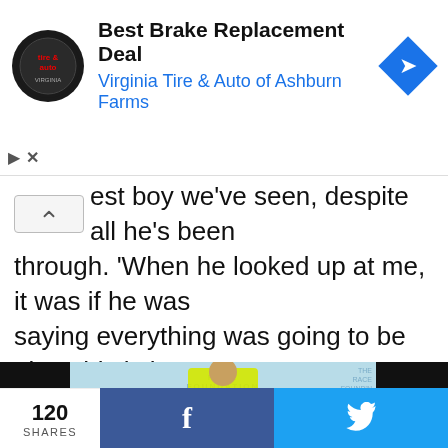[Figure (screenshot): Advertisement banner for Virginia Tire & Auto of Ashburn Farms - Best Brake Replacement Deal]
est boy we've seen, despite all he's been through. 'When he looked up at me, it was if he was saying everything was going to be okay this is just a storm in life that will soon pass and we will one day be thankful for it – that's what I got from that smile and I just couldn't contain myself.'
[Figure (photo): Woman in yellow dress, The Race Foundation branding visible, with video play button overlay]
120 SHARES  [Facebook share button]  [Twitter share button]